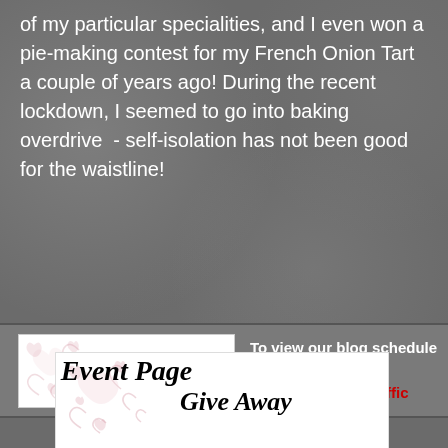of my particular specialities, and I even won a pie-making contest for my French Onion Tart a couple of years ago! During the recent lockdown, I seemed to go into baking overdrive  - self-isolation has not been good for the waistline!
[Figure (illustration): Event Page banner: white box with decorative pink hearts on left and bold italic 'Event Page' text, beside white text 'To view our blog schedule a tour visit our Offic' with 'Offic' in red, on grey background]
[Figure (illustration): Give Away banner: white box with decorative pink hearts on left and bold italic 'Give Away' text, on grey background]